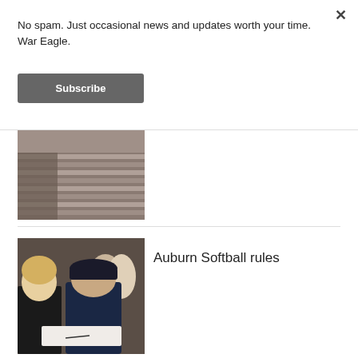No spam. Just occasional news and updates worth your time. War Eagle.
Subscribe
[Figure (photo): Aerial or elevated view of stadium seating rows, partially visible]
[Figure (photo): Indoor photo of a man in a dark cap and navy shirt signing something, with women in the background]
Auburn Softball rules